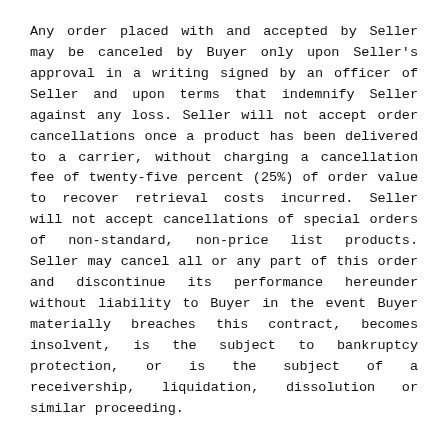Any order placed with and accepted by Seller may be canceled by Buyer only upon Seller's approval in a writing signed by an officer of Seller and upon terms that indemnify Seller against any loss. Seller will not accept order cancellations once a product has been delivered to a carrier, without charging a cancellation fee of twenty-five percent (25%) of order value to recover retrieval costs incurred. Seller will not accept cancellations of special orders of non-standard, non-price list products. Seller may cancel all or any part of this order and discontinue its performance hereunder without liability to Buyer in the event Buyer materially breaches this contract, becomes insolvent, is the subject to bankruptcy protection, or is the subject of a receivership, liquidation, dissolution or similar proceeding.
TAXES
Buyer is responsible for any tax or governmental charge